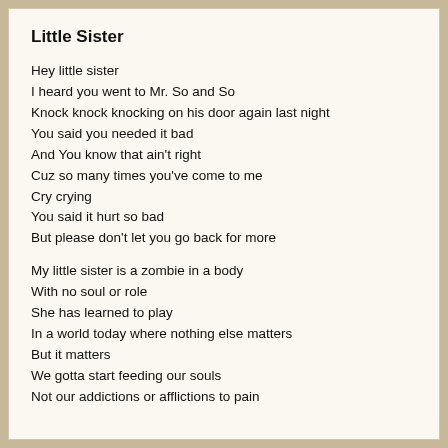Little Sister
Hey little sister
I heard you went to Mr. So and So
Knock knock knocking on his door again last night
You said you needed it bad
And You know that ain't right
Cuz so many times you've come to me
Cry crying
You said it hurt so bad
But please don't let you go back for more
My little sister is a zombie in a body
With no soul or role
She has learned to play
In a world today where nothing else matters
But it matters
We gotta start feeding our souls
Not our addictions or afflictions to pain